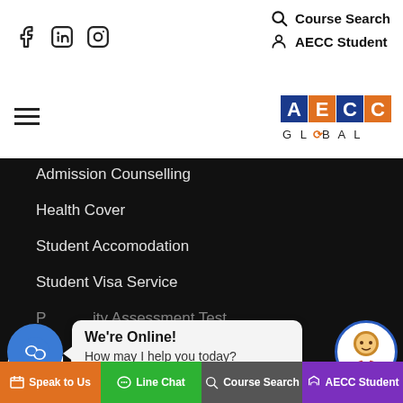Course Search | AECC Student | Facebook | LinkedIn | Instagram icons
[Figure (logo): AECC Global logo with blue A, orange E, blue C, orange C squares and GLOBAL text below]
Admission Counselling
Health Cover
Student Accomodation
Student Visa Service
Priority Assessment Test
[Figure (screenshot): Chat widget with blue speech bubble icon, popup saying 'We're Online! How may I help you today?' and avatar]
Quick Links
Book An Appointment
Speak to Us | Line Chat | Course Search | AECC Student